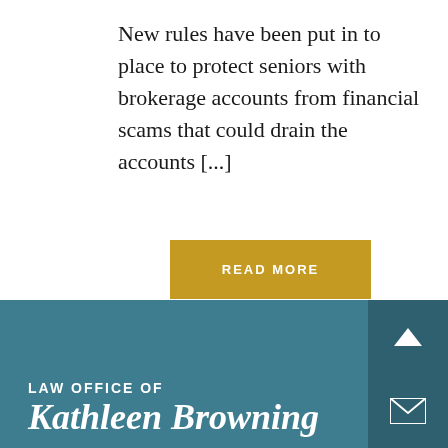New rules have been put in to place to protect seniors with brokerage accounts from financial scams that could drain the accounts [...]
READ MORE
LAW OFFICE OF Kathleen Browning